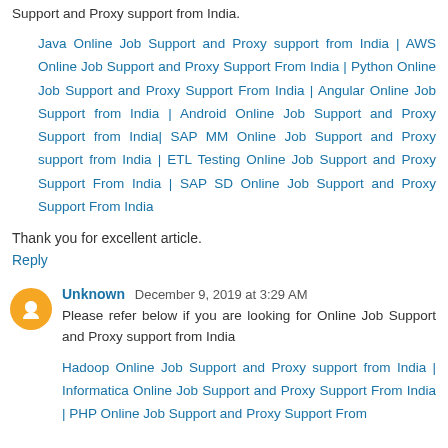Support and Proxy support from India.
Java Online Job Support and Proxy support from India | AWS Online Job Support and Proxy Support From India | Python Online Job Support and Proxy Support From India | Angular Online Job Support from India | Android Online Job Support and Proxy Support from India| SAP MM Online Job Support and Proxy support from India | ETL Testing Online Job Support and Proxy Support From India | SAP SD Online Job Support and Proxy Support From India
Thank you for excellent article.
Reply
Unknown December 9, 2019 at 3:29 AM
Please refer below if you are looking for Online Job Support and Proxy support from India
Hadoop Online Job Support and Proxy support from India | Informatica Online Job Support and Proxy Support From India | PHP Online Job Support and Proxy Support From